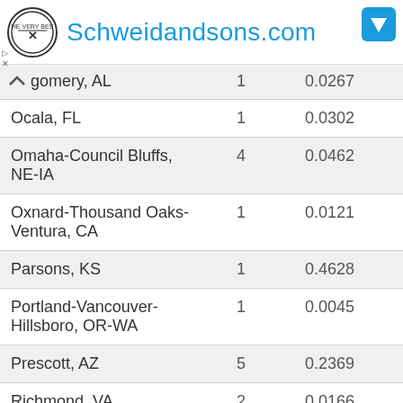Schweidandsons.com
| City |  |  |
| --- | --- | --- |
| gomery, AL | 1 | 0.0267 |
| Ocala, FL | 1 | 0.0302 |
| Omaha-Council Bluffs, NE-IA | 4 | 0.0462 |
| Oxnard-Thousand Oaks-Ventura, CA | 1 | 0.0121 |
| Parsons, KS | 1 | 0.4628 |
| Portland-Vancouver-Hillsboro, OR-WA | 1 | 0.0045 |
| Prescott, AZ | 5 | 0.2369 |
| Richmond, VA | 2 | 0.0166 |
| Riverside-San Bernardino-Ontario, CA | 1 | 0.0024 |